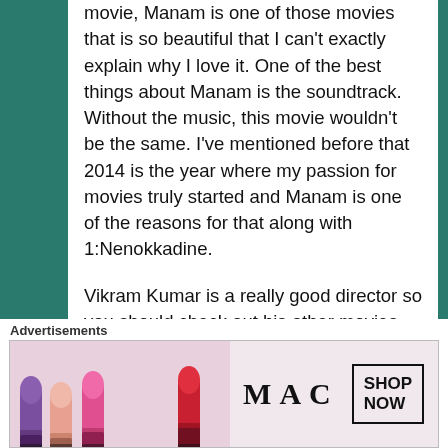movie, Manam is one of those movies that is so beautiful that I can't exactly explain why I love it. One of the best things about Manam is the soundtrack. Without the music, this movie wouldn't be the same. I've mentioned before that 2014 is the year where my passion for movies truly started and Manam is one of the reasons for that along with 1:Nenokkadine.

Vikram Kumar is a really good director so you should check out his other movies, 24 (starring Suriya) and Isho
Advertisements
[Figure (photo): MAC Cosmetics advertisement banner showing colorful lipsticks on left side, MAC logo in center, and a SHOP NOW button box on the right.]